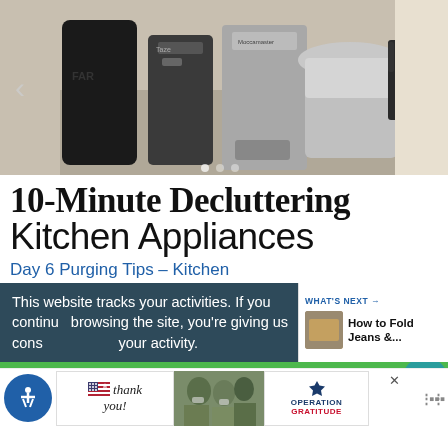[Figure (photo): Photo of kitchen appliances including coffee makers and a stainless steel carafe on a counter]
10-Minute Decluttering Kitchen Appliances
Day 6 Purging Tips – Kitchen
This website tracks your activities. If you continue browsing the site, you're giving us cons... your activity.
WHAT'S NEXT → How to Fold Jeans &...